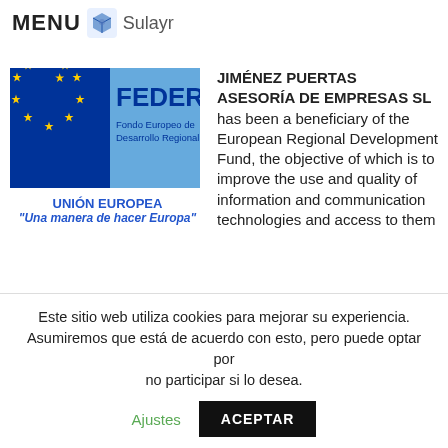MENU  Sulayr
[Figure (logo): FEDER - Fondo Europeo de Desarrollo Regional logo with EU flag stars on blue background, and light blue panel with FEDER text]
UNIÓN EUROPEA
"Una manera de hacer Europa"
JIMÉNEZ PUERTAS ASESORÍA DE EMPRESAS SL has been a beneficiary of the European Regional Development Fund, the objective of which is to improve the use and quality of information and communication technologies and access to them
Este sitio web utiliza cookies para mejorar su experiencia. Asumiremos que está de acuerdo con esto, pero puede optar por no participar si lo desea.  Ajustes  ACEPTAR